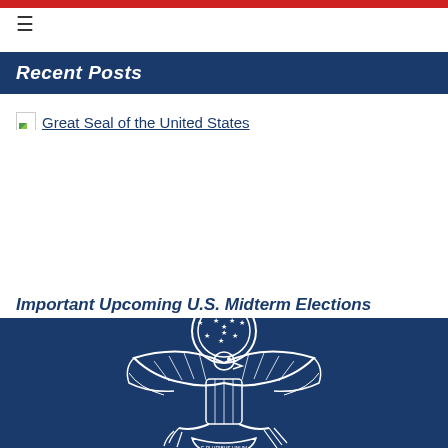≡
Recent Posts
[Figure (photo): Broken image placeholder with alt text 'Great Seal of the United States' and a horizontal rule below]
Important Upcoming U.S. Midterm Elections Reminder!
[Figure (illustration): Blue background image showing the Great Seal of the United States (eagle emblem) in white outline/line art, partially cropped at bottom]